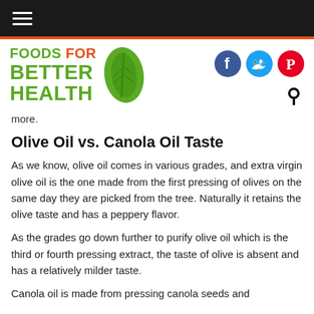Foods For Better Health - navigation bar
[Figure (logo): Foods For Better Health logo with green leaf icon and social media icons (Facebook, Twitter, Pinterest) and search icon]
more.
Olive Oil vs. Canola Oil Taste
As we know, olive oil comes in various grades, and extra virgin olive oil is the one made from the first pressing of olives on the same day they are picked from the tree. Naturally it retains the olive taste and has a peppery flavor.
As the grades go down further to purify olive oil which is the third or fourth pressing extract, the taste of olive is absent and has a relatively milder taste.
Canola oil is made from pressing canola seeds and